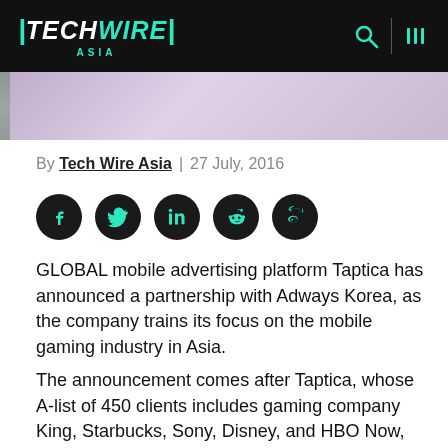[Figure (logo): Tech Wire Asia logo with teal slashes and ASIA text beneath, on black header bar]
[Figure (photo): Partial photo strip showing a person in a light purple/pink shirt, cropped]
By Tech Wire Asia | 27 July, 2016
[Figure (other): Social share buttons: Facebook, Twitter, LinkedIn, Reddit, Weibo - circular dark icons with teal symbols]
GLOBAL mobile advertising platform Taptica has announced a partnership with Adways Korea, as the company trains its focus on the mobile gaming industry in Asia.
The announcement comes after Taptica, whose A-list of 450 clients includes gaming company King, Starbucks, Sony, Disney, and HBO Now, recently